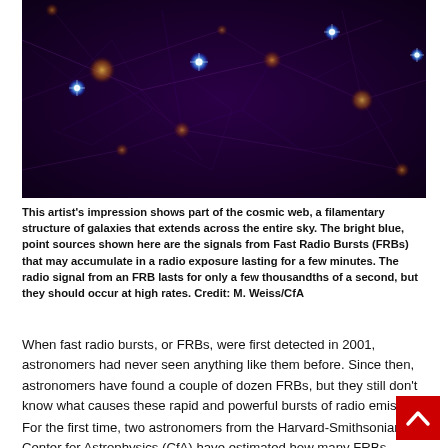[Figure (photo): Artist's impression of the cosmic web — a dark purple filamentary network of galaxy structures with bright blue point sources (representing Fast Radio Bursts) and golden/orange filament nodes scattered across the image.]
This artist's impression shows part of the cosmic web, a filamentary structure of galaxies that extends across the entire sky. The bright blue, point sources shown here are the signals from Fast Radio Bursts (FRBs) that may accumulate in a radio exposure lasting for a few minutes. The radio signal from an FRB lasts for only a few thousandths of a second, but they should occur at high rates. Credit: M. Weiss/CfA
When fast radio bursts, or FRBs, were first detected in 2001, astronomers had never seen anything like them before. Since then, astronomers have found a couple of dozen FRBs, but they still don't know what causes these rapid and powerful bursts of radio emission.
For the first time, two astronomers from the Harvard-Smithsonian Center for Astrophysics (CfA) have estimated how many FRBs should occur over the entire observable universe.